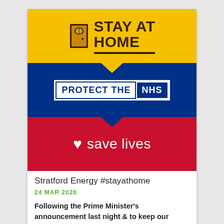[Figure (infographic): UK Government Stay at Home campaign graphic. Three horizontal bands: yellow band with door icon and 'STAY AT HOME' text in dark brown with underline; blue band with 'PROTECT THE NHS' text in bordered box; red band with white heart icon and 'save lives' text. Each band separated by a downward-pointing arrow.]
Stratford Energy #stayathome
24 MAR 2020
Following the Prime Minister's announcement last night & to keep our customers & employees safe we have